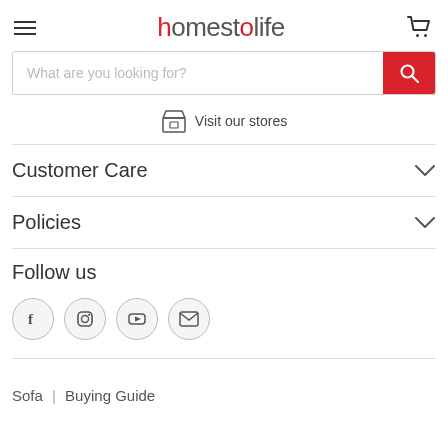homestolife
What are you looking for?
Visit our stores
Customer Care
Policies
Follow us
Social icons: Facebook, Instagram, YouTube, Email
Sofa | Buying Guide